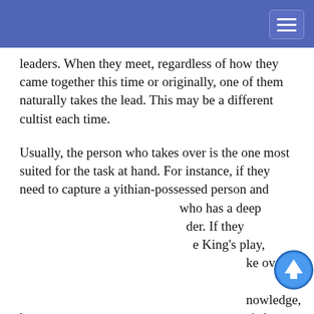[navigation header bar with hamburger menu]
The Yellow Sign does not have persistent cult leaders. When they meet, regardless of how they came together this time or originally, one of them naturally takes the lead. This may be a different cultist each time.
Usually, the person who takes over is the one most suited for the task at hand. For instance, if they need to capture a yithian-possessed person and [text continues] who has a deep [text continues] der. If they [text continues] e King's play, [text continues] ke over [text continues] nowledge, he [text continues] extract wisdom [text continues] make a regular [text continues] essed by the great race of yith and also round up non-humanoids
This website uses cookies to provide functionality, but which are not used to track your activity. By continuing to use this site, you agree to the use of these cookies.

However, in addition to this, you may opt into your activity being tracked in order to help us improve our service.

For more information, please click here